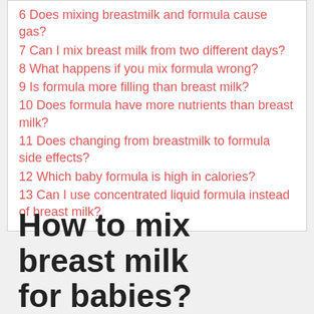6 Does mixing breastmilk and formula cause gas?
7 Can I mix breast milk from two different days?
8 What happens if you mix formula wrong?
9 Is formula more filling than breast milk?
10 Does formula have more nutrients than breast milk?
11 Does changing from breastmilk to formula side effects?
12 Which baby formula is high in calories?
13 Can I use concentrated liquid formula instead of breast milk?
How to mix breast milk for babies?